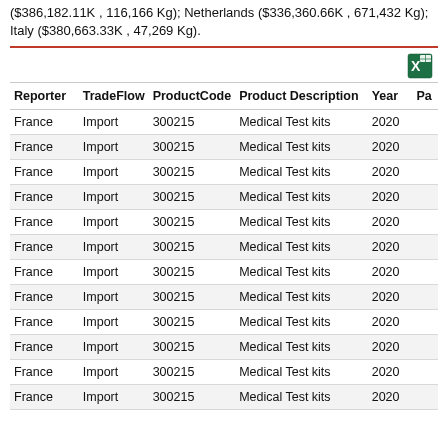($386,182.11K , 116,166 Kg); Netherlands ($336,360.66K , 671,432 Kg); Italy ($380,663.33K , 47,269 Kg).
| Reporter | TradeFlow | ProductCode | Product Description | Year | Pa |
| --- | --- | --- | --- | --- | --- |
| France | Import | 300215 | Medical Test kits | 2020 |  |
| France | Import | 300215 | Medical Test kits | 2020 |  |
| France | Import | 300215 | Medical Test kits | 2020 |  |
| France | Import | 300215 | Medical Test kits | 2020 |  |
| France | Import | 300215 | Medical Test kits | 2020 |  |
| France | Import | 300215 | Medical Test kits | 2020 |  |
| France | Import | 300215 | Medical Test kits | 2020 |  |
| France | Import | 300215 | Medical Test kits | 2020 |  |
| France | Import | 300215 | Medical Test kits | 2020 |  |
| France | Import | 300215 | Medical Test kits | 2020 |  |
| France | Import | 300215 | Medical Test kits | 2020 |  |
| France | Import | 300215 | Medical Test kits | 2020 |  |